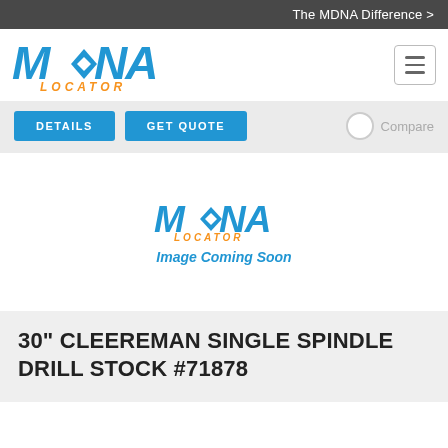The MDNA Difference >
[Figure (logo): MDNA Locator logo - blue stylized text MDNA with orange LOCATOR subtitle]
DETAILS
GET QUOTE
Compare
[Figure (logo): MDNA Locator placeholder logo with text 'Image Coming Soon' below]
30" CLEEREMAN SINGLE SPINDLE DRILL STOCK #71878